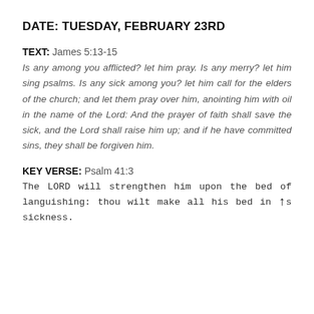DATE: TUESDAY, FEBRUARY 23RD
TEXT: James 5:13-15
Is any among you afflicted? let him pray. Is any merry? let him sing psalms. Is any sick among you? let him call for the elders of the church; and let them pray over him, anointing him with oil in the name of the Lord: And the prayer of faith shall save the sick, and the Lord shall raise him up; and if he have committed sins, they shall be forgiven him.
KEY VERSE: Psalm 41:3
The LORD will strengthen him upon the bed of languishing: thou wilt make all his bed in his sickness.